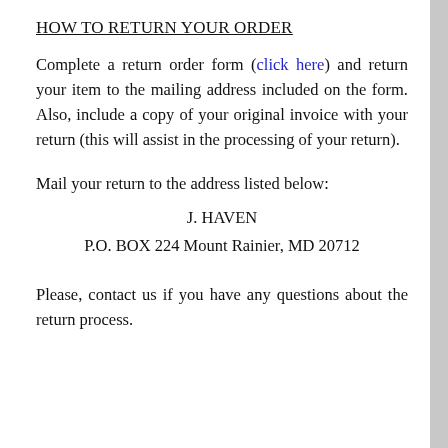HOW TO RETURN YOUR ORDER
Complete a return order form (click here) and return your item to the mailing address included on the form. Also, include a copy of your original invoice with your return (this will assist in the processing of your return).
Mail your return to the address listed below:
J. HAVEN
P.O. BOX 224 Mount Rainier, MD 20712
Please, contact us if you have any questions about the return process.